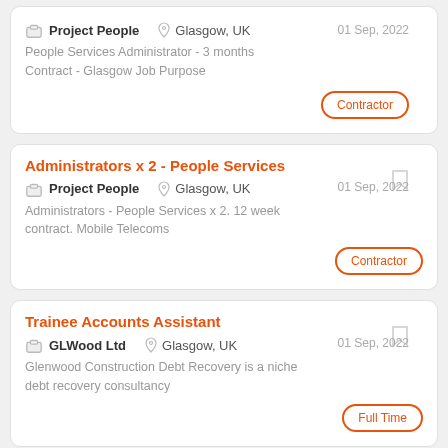Project People | Glasgow, UK | 01 Sep, 2022 | Contractor | People Services Administrator - 3 months Contract - Glasgow Job Purpose
Administrators x 2 - People Services
Project People | Glasgow, UK | 01 Sep, 2022 | Contractor | Administrators - People Services x 2. 12 week contract. Mobile Telecoms
Trainee Accounts Assistant
GLWood Ltd | Glasgow, UK | 01 Sep, 2022 | Full Time | Glenwood Construction Debt Recovery is a niche debt recovery consultancy